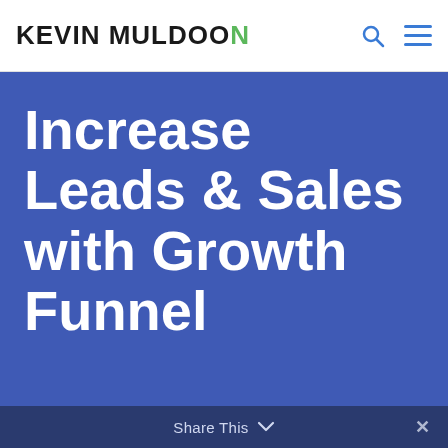Kevin Muldoon
Increase Leads & Sales with Growth Funnel
Share This  ×